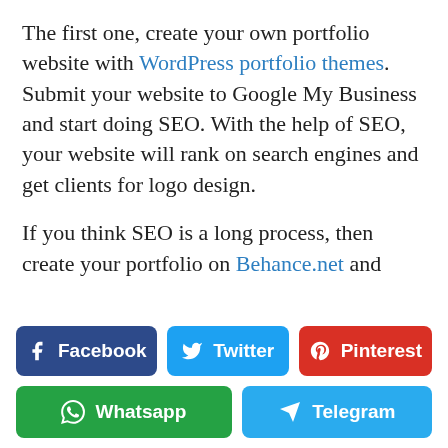The first one, create your own portfolio website with WordPress portfolio themes. Submit your website to Google My Business and start doing SEO. With the help of SEO, your website will rank on search engines and get clients for logo design.

If you think SEO is a long process, then create your portfolio on Behance.net and
[Figure (infographic): Social media share buttons: Facebook (dark blue), Twitter (light blue), Pinterest (red), Whatsapp (green), Telegram (light blue)]